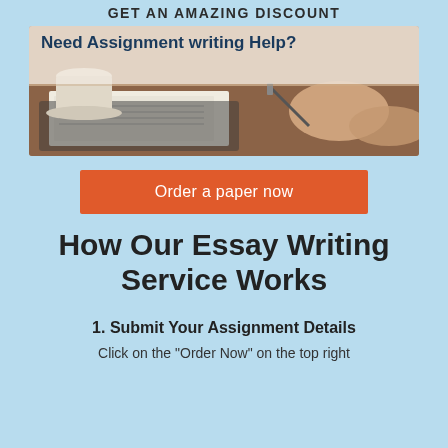GET AN AMAZING DISCOUNT
[Figure (photo): Banner image showing person writing with text 'Need Assignment writing Help?' overlaid on top left]
Order a paper now
How Our Essay Writing Service Works
1. Submit Your Assignment Details
Click on the "Order Now" on the top right